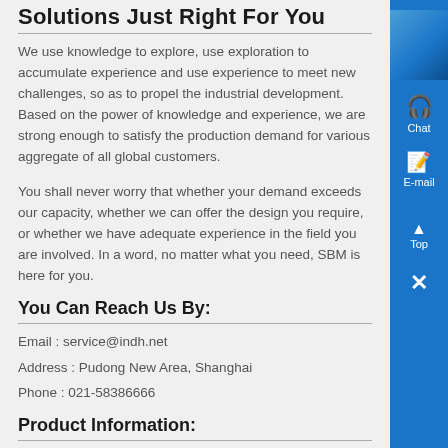Solutions Just Right For You
We use knowledge to explore, use exploration to accumulate experience and use experience to meet new challenges, so as to propel the industrial development. Based on the power of knowledge and experience, we are strong enough to satisfy the production demand for various aggregate of all global customers.
You shall never worry that whether your demand exceeds our capacity, whether we can offer the design you require, or whether we have adequate experience in the field you are involved. In a word, no matter what you need, SBM is here for you.
You Can Reach Us By:
Email : service@indh.net
Address : Pudong New Area, Shanghai
Phone : 021-58386666
Product Information:
Online Consulting